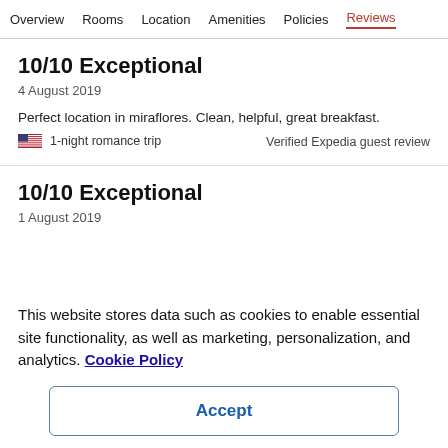Overview | Rooms | Location | Amenities | Policies | Reviews
10/10 Exceptional
4 August 2019
Perfect location in miraflores. Clean, helpful, great breakfast.
🇺🇸 1-night romance trip
Verified Expedia guest review
10/10 Exceptional
1 August 2019
This website stores data such as cookies to enable essential site functionality, as well as marketing, personalization, and analytics. Cookie Policy
Accept
Deny